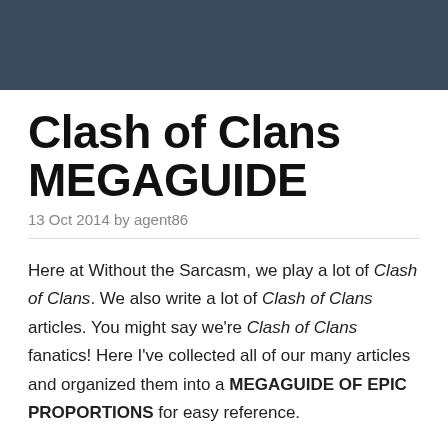Clash of Clans MEGAGUIDE
13 Oct 2014 by agent86
Here at Without the Sarcasm, we play a lot of Clash of Clans. We also write a lot of Clash of Clans articles. You might say we're Clash of Clans fanatics! Here I've collected all of our many articles and organized them into a MEGAGUIDE OF EPIC PROPORTIONS for easy reference.